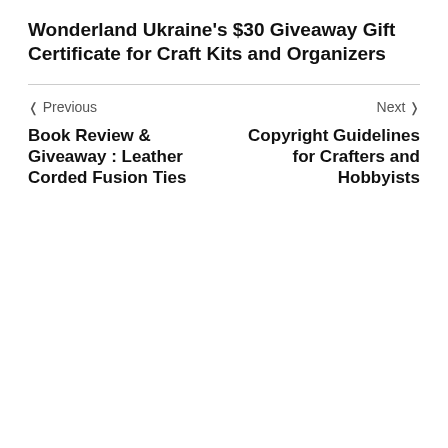Wonderland Ukraine's $30 Giveaway Gift Certificate for Craft Kits and Organizers
< Previous
Next >
Book Review & Giveaway : Leather Corded Fusion Ties
Copyright Guidelines for Crafters and Hobbyists